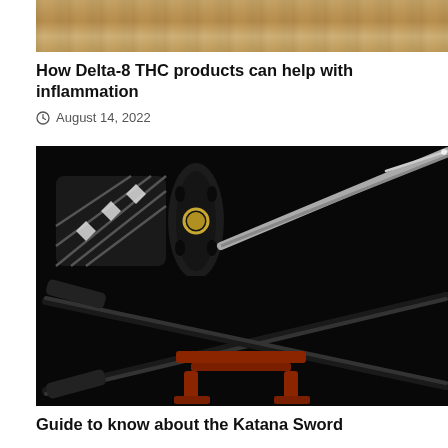[Figure (photo): Partial top image showing wooden/bamboo texture, cropped at top of page]
How Delta-8 THC products can help with inflammation
August 14, 2022
[Figure (photo): Katana sword photo: upper portion shows close-up of tsuba (guard) and handle with black wrapping and gold accents against black background; lower portion shows two crossed black katana swords resting on a red wooden stand against black background]
Guide to know about the Katana Sword